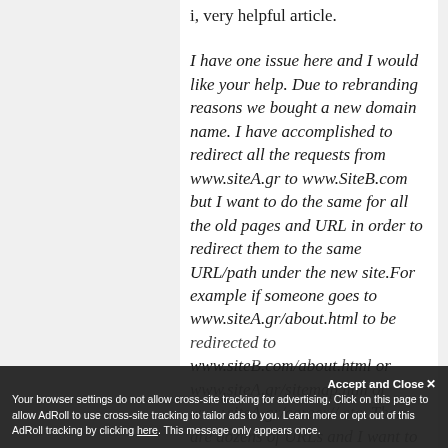i, very helpful article.
I have one issue here and I would like your help. Due to rebranding reasons we bought a new domain name. I have accomplished to redirect all the requests from www.siteA.gr to www.SiteB.com but I want to do the same for all the old pages and URL in order to redirect them to the same URL/path under the new site.For example if someone goes to www.siteA.gr/about.html to be redirected to www.siteB.com/about.html or www.siteA.gr/sitemap.htm or www.siteA.gr/career// etc. There are dozens of URLs and I want to
Your browser settings do not allow cross-site tracking for advertising. Click on this page to allow AdRoll to use cross-site tracking to tailor ads to you. Learn more or opt out of this AdRoll tracking by clicking here. This message only appears once.